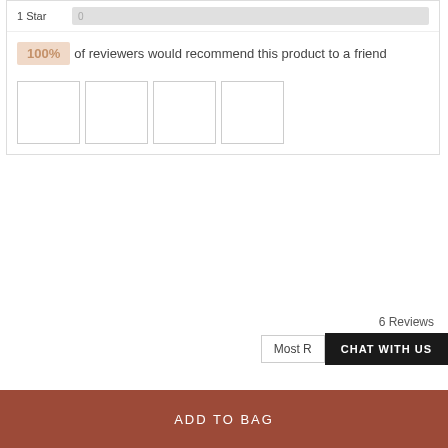1 Star	0
100% of reviewers would recommend this product to a friend
[Figure (photo): Grid of 4 product photo thumbnails (empty/placeholder white boxes with thin borders)]
6 Reviews
Most R...
CHAT WITH US
ADD TO BAG